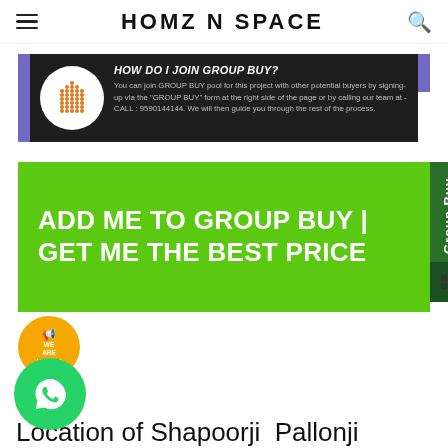HOMZ N SPACE
[Figure (infographic): Group buy info banner with house icon, title 'HOW DO I JOIN GROUP BUY?' and instructions about joining group buy pool for a project.]
ADD  ME TO GROUP  BUY | GET  ME THE  BEST  PRICE
[Figure (infographic): Yellow circular badge with 'WE ARE HIRING!' text and megaphone icon]
[Figure (infographic): Green circular WhatsApp button icon]
Location of Shapoorji  Pallonji